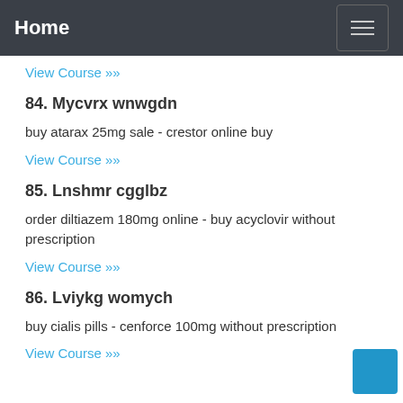Home
View Course »
84. Mycvrx wnwgdn
buy atarax 25mg sale - crestor online buy
View Course »
85. Lnshmr cgglbz
order diltiazem 180mg online - buy acyclovir without prescription
View Course »
86. Lviykg womych
buy cialis pills - cenforce 100mg without prescription
View Course »